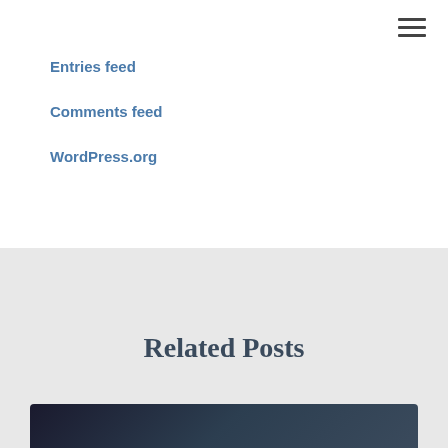Entries feed
Comments feed
WordPress.org
Related Posts
[Figure (photo): Dark screenshot or image preview partially visible at bottom of page]